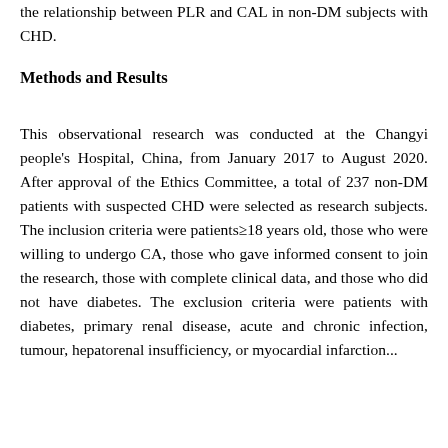the relationship between PLR and CAL in non-DM subjects with CHD.
Methods and Results
This observational research was conducted at the Changyi people's Hospital, China, from January 2017 to August 2020. After approval of the Ethics Committee, a total of 237 non-DM patients with suspected CHD were selected as research subjects. The inclusion criteria were patients≥18 years old, those who were willing to undergo CA, those who gave informed consent to join the research, those with complete clinical data, and those who did not have diabetes. The exclusion criteria were patients with diabetes, primary renal disease, acute and chronic infection, tumour, hepatorenal insufficiency, or myocardial infarction...